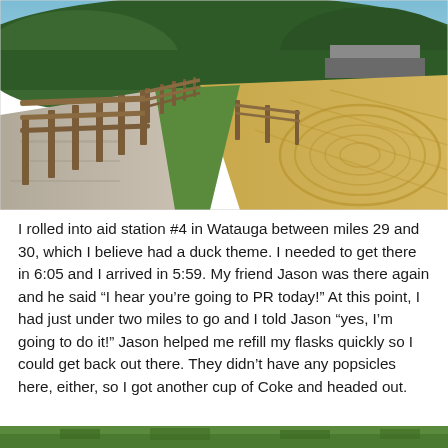[Figure (photo): A gravel road with a wooden split-rail fence runs alongside a mowed golden hay field. Green rolling hills with trees are visible in the background, along with a farm building. The scene is rural and sunny.]
I rolled into aid station #4 in Watauga between miles 29 and 30, which I believe had a duck theme. I needed to get there in 6:05 and I arrived in 5:59. My friend Jason was there again and he said “I hear you’re going to PR today!” At this point, I had just under two miles to go and I told Jason “yes, I’m going to do it!” Jason helped me refill my flasks quickly so I could get back out there. They didn’t have any popsicles here, either, so I got another cup of Coke and headed out.
[Figure (photo): Partial view of another outdoor photo visible at the bottom edge of the page, showing green vegetation.]